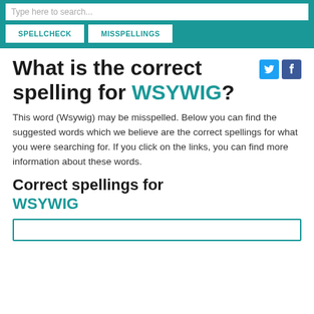Type here to search...
SPELLCHECK
MISSPELLINGS
What is the correct spelling for WSYWIG?
This word (Wsywig) may be misspelled. Below you can find the suggested words which we believe are the correct spellings for what you were searching for. If you click on the links, you can find more information about these words.
Correct spellings for WSYWIG